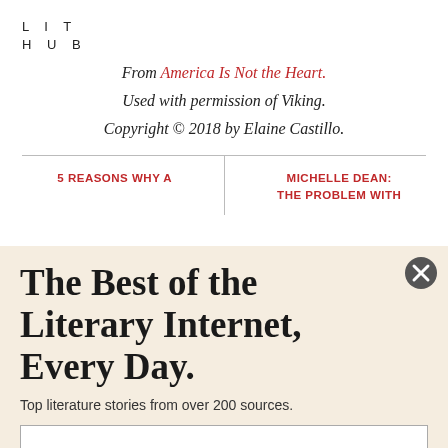LIT HUB
From America Is Not the Heart. Used with permission of Viking. Copyright © 2018 by Elaine Castillo.
5 REASONS WHY A
MICHELLE DEAN: THE PROBLEM WITH
The Best of the Literary Internet, Every Day.
Top literature stories from over 200 sources.
SUBSCRIBE